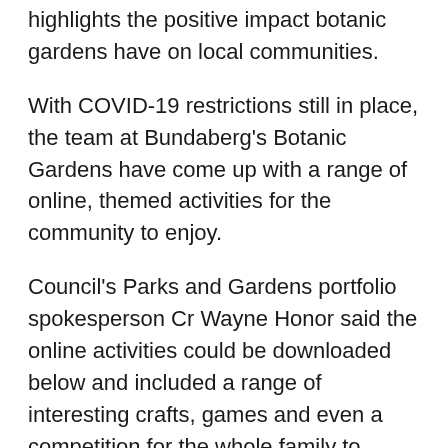highlights the positive impact botanic gardens have on local communities.
With COVID-19 restrictions still in place, the team at Bundaberg's Botanic Gardens have come up with a range of online, themed activities for the community to enjoy.
Council's Parks and Gardens portfolio spokesperson Cr Wayne Honor said the online activities could be downloaded below and included a range of interesting crafts, games and even a competition for the whole family to enjoy.
“These activities include garden bingo, which can be played in your own backyard, and ideas on how to create your own plant press using simple, natural materials,” he said.
“There is also a Botanic Gardens quiz for residents to take part in and instructions on how to create beautiful paper